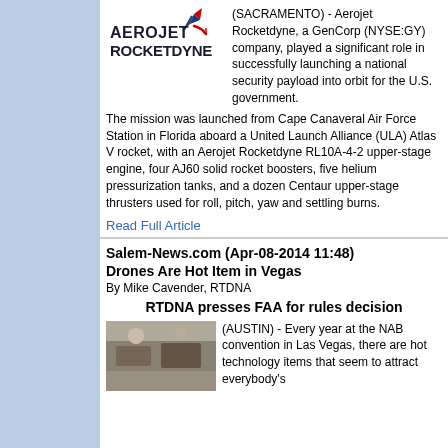[Figure (logo): Aerojet Rocketdyne logo with rocket graphic in red, blue, and dark colors]
(SACRAMENTO) - Aerojet Rocketdyne, a GenCorp (NYSE:GY) company, played a significant role in successfully launching a national security payload into orbit for the U.S. government.
The mission was launched from Cape Canaveral Air Force Station in Florida aboard a United Launch Alliance (ULA) Atlas V rocket, with an Aerojet Rocketdyne RL10A-4-2 upper-stage engine, four AJ60 solid rocket boosters, five helium pressurization tanks, and a dozen Centaur upper-stage thrusters used for roll, pitch, yaw and settling burns.
Read Full Article
Salem-News.com (Apr-08-2014 11:48)
Drones Are Hot Item in Vegas
By Mike Cavender, RTDNA
RTDNA presses FAA for rules decision
[Figure (photo): Photo of people or technology at NAB convention in Las Vegas]
(AUSTIN) - Every year at the NAB convention in Las Vegas, there are hot technology items that seem to attract everybody's